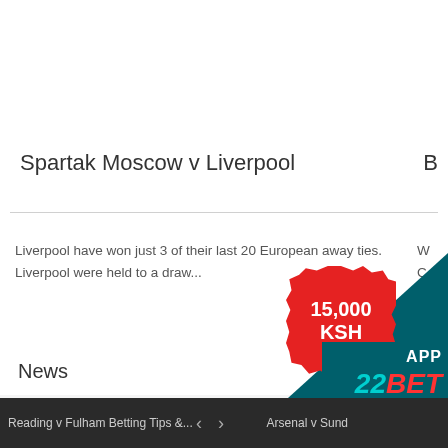Spartak Moscow v Liverpool
Liverpool have won just 3 of their last 20 European away ties.
Liverpool were held to a draw...
News
[Figure (infographic): Red spiky badge showing 15,000 KSH promotional offer, with teal corner background and 22BET app logo]
Reading v Fulham Betting Tips &...   <   >   Arsenal v Sund